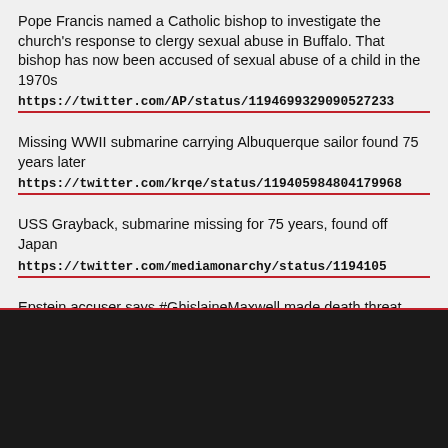Pope Francis named a Catholic bishop to investigate the church's response to clergy sexual abuse in Buffalo. That bishop has now been accused of sexual abuse of a child in the 1970s
https://twitter.com/AP/status/1194699329090527233
Missing WWII submarine carrying Albuquerque sailor found 75 years later
https://twitter.com/krqe/status/1194059848041799680
USS Grayback, submarine missing for 75 years, found off Japan
https://twitter.com/mediamonarchy/status/1194105
Epstein accuser says #GhislaineMaxwell made death threat after she reported abuse
https://twitter.com/NOTDumPhuk/status/119437662